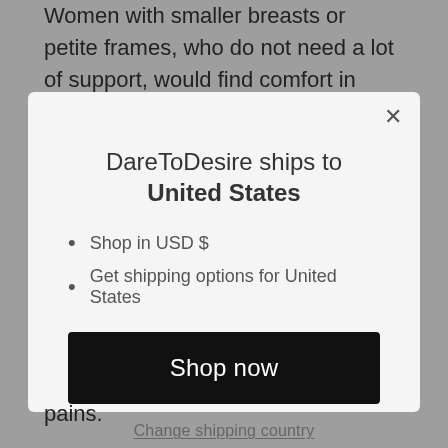Women with smaller breasts or petite frames, who do not need a lot of support, would find comfort in unwired bralette. The Lolita
[Figure (screenshot): Modal dialog box with US flag, heading 'DareToDesire ships to United States', bullet list with 'Shop in USD $' and 'Get shipping options for United States', a 'Shop now' button, and 'Change shipping country' link]
pains.